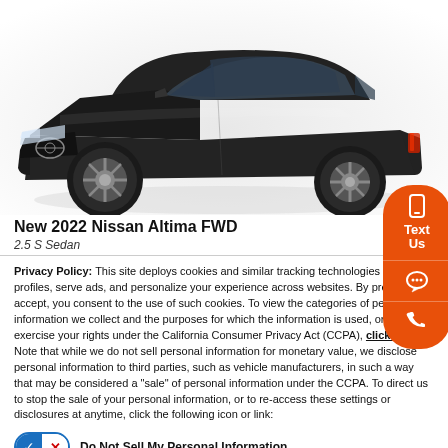[Figure (photo): Dark gray/black Nissan Altima FWD sedan, front three-quarter view on white background]
New 2022 Nissan Altima FWD
2.5 S Sedan
Privacy Policy: This site deploys cookies and similar tracking technologies to build profiles, serve ads, and personalize your experience across websites. By pressing accept, you consent to the use of such cookies. To view the categories of personal information we collect and the purposes for which the information is used, or to exercise your rights under the California Consumer Privacy Act (CCPA), click here. Note that while we do not sell personal information for monetary value, we disclose personal information to third parties, such as vehicle manufacturers, in such a way that may be considered a "sale" of personal information under the CCPA. To direct us to stop the sale of your personal information, or to re-access these settings or disclosures at anytime, click the following icon or link:
Do Not Sell My Personal Information
Language: English
Powered by ComplyAuto
Accept and Continue →
California Privacy Disclosures